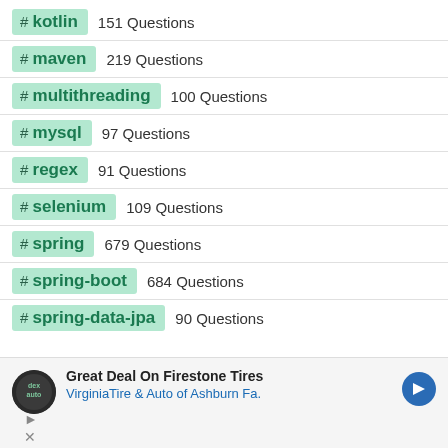# kotlin 151 Questions
# maven 219 Questions
# multithreading 100 Questions
# mysql 97 Questions
# regex 91 Questions
# selenium 109 Questions
# spring 679 Questions
# spring-boot 684 Questions
# spring-data-jpa 90 Questions
[Figure (screenshot): Advertisement for Firestone Tires at Virginia Tire & Auto of Ashburn Fa.]